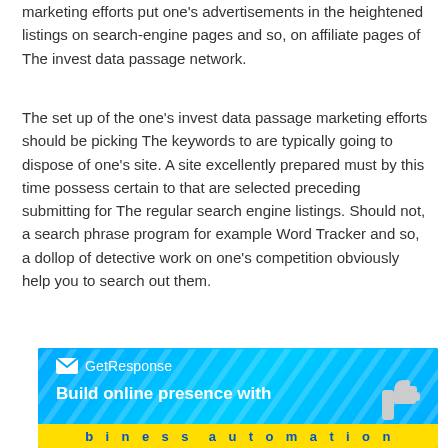marketing efforts put one's advertisements in the heightened listings on search-engine pages and so, on affiliate pages of The invest data passage network.
The set up of the one's invest data passage marketing efforts should be picking The keywords to are typically going to dispose of one's site. A site excellently prepared must by this time possess certain to that are selected preceding submitting for The regular search engine listings. Should not, a search phrase program for example Word Tracker and so, a dollop of detective work on one's competition obviously help you to search out them.
[Figure (other): GetResponse advertisement banner in blue with thumbs-up icon. Text: 'GetResponse' logo, 'Build online presence with' headline, and a yellow bar at the bottom with partially visible text.]